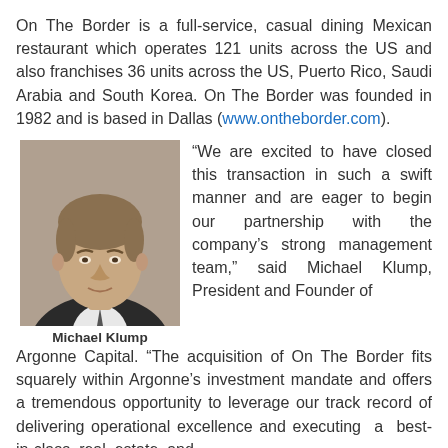On The Border is a full-service, casual dining Mexican restaurant which operates 121 units across the US and also franchises 36 units across the US, Puerto Rico, Saudi Arabia and South Korea. On The Border was founded in 1982 and is based in Dallas (www.ontheborder.com).
[Figure (photo): Headshot photo of Michael Klump, a middle-aged man in a suit with caption 'Michael Klump' below]
“We are excited to have closed this transaction in such a swift manner and are eager to begin our partnership with the company’s strong management team,” said Michael Klump, President and Founder of Argonne Capital. “The acquisition of On The Border fits squarely within Argonne’s investment mandate and offers a tremendous opportunity to leverage our track record of delivering operational excellence and executing a best-in-class real estate and